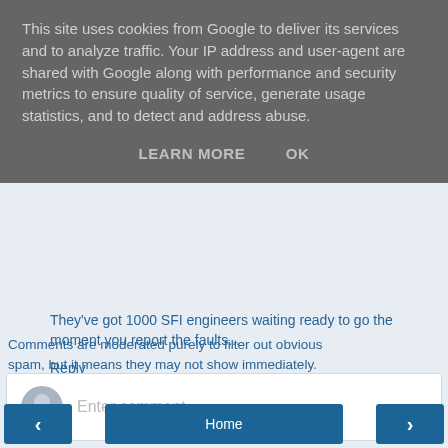This site uses cookies from Google to deliver its services and to analyze traffic. Your IP address and user-agent are shared with Google along with performance and security metrics to ensure quality of service, generate usage statistics, and to detect and address abuse.
LEARN MORE   OK
They've got 1000 SFI engineers waiting ready to go the moment you report the faults...
Reply
Enter comment
Comments are moderated purely to filter out obvious spam, but it means they may not show immediately.